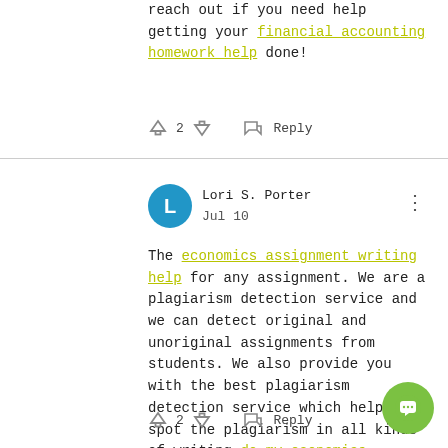reach out if you need help getting your financial accounting homework help done!
↑ 2 ↓  Reply
Lori S. Porter
Jul 10
The economics assignment writing help for any assignment. We are a plagiarism detection service and we can detect original and unoriginal assignments from students. We also provide you with the best plagiarism detection service which helps you spot the plagiarism in all kinds of writing do my economics homework for me
↑ 2 ↓  Reply